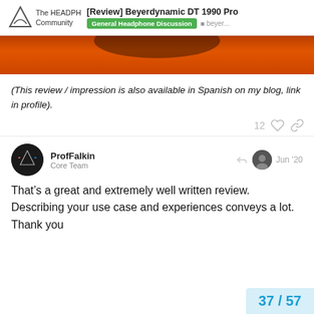[Review] Beyerdynamic DT 1990 Pro | The HEADPHONE Community | General Headphone Discussion | beyer...
[Figure (photo): Partial view of an orange background with a dark circular object at the top, likely a headphone earcup.]
(This review / impression is also available in Spanish on my blog, link in profile).
12 [likes] [link]
ProfFalkin
Core Team
Jun '20
That’s a great and extremely well written review. Describing your use case and experiences conveys a lot. Thank you
37 / 57